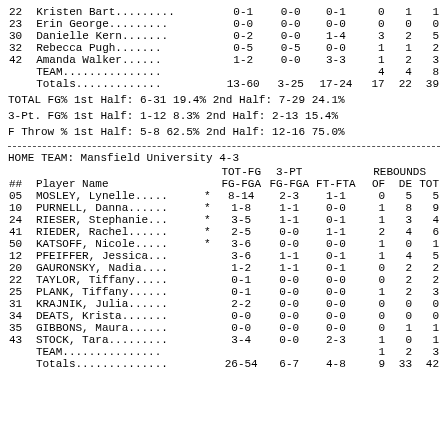| ## | Player Name |  | FG-FGA | FG-FGA | FT-FTA | OF | DE | TOT |
| --- | --- | --- | --- | --- | --- | --- | --- | --- |
| 22 | Kristen Bart....... |  | 0-1 | 0-0 | 0-1 | 0 | 1 | 1 |
| 23 | Erin George......... |  | 0-0 | 0-0 | 0-0 | 0 | 0 | 0 |
| 30 | Danielle Kern....... |  | 0-2 | 0-0 | 1-4 | 3 | 2 | 5 |
| 32 | Rebecca Pugh....... |  | 0-5 | 0-5 | 0-0 | 1 | 1 | 2 |
| 42 | Amanda Walker...... |  | 1-2 | 0-0 | 3-3 | 1 | 2 | 3 |
|  | TEAM................ |  |  |  |  | 4 | 4 | 8 |
|  | Totals............. |  | 13-60 | 3-25 | 17-24 | 17 | 22 | 39 |
TOTAL FG% 1st Half:  6-31 19.4%   2nd Half:  7-29 24.1%
3-Pt. FG% 1st Half:  1-12  8.3%   2nd Half:  2-13 15.4%
F Throw % 1st Half:   5-8 62.5%   2nd Half: 12-16 75.0%
HOME TEAM: Mansfield University 4-3
| ## | Player Name |  | TOT-FG FG-FGA | 3-PT FG-FGA | FT-FTA | OF | DE | TOT |
| --- | --- | --- | --- | --- | --- | --- | --- | --- |
| 05 | MOSLEY, Lynelle..... | * | 8-14 | 2-3 | 1-1 | 0 | 5 | 5 |
| 10 | PURNELL, Danna...... | * | 1-8 | 1-1 | 0-0 | 1 | 8 | 9 |
| 24 | RIESER, Stephanie... | * | 3-5 | 1-1 | 0-1 | 1 | 3 | 4 |
| 41 | RIEDER, Rachel...... | * | 2-5 | 0-0 | 1-1 | 2 | 4 | 6 |
| 50 | KATSOFF, Nicole..... | * | 3-6 | 0-0 | 0-0 | 1 | 0 | 1 |
| 12 | PFEIFFER, Jessica... |  | 3-6 | 1-1 | 0-1 | 1 | 4 | 5 |
| 20 | GAURONSKY, Nadia.... |  | 1-2 | 1-1 | 0-1 | 0 | 2 | 2 |
| 22 | TAYLOR, Tiffany..... |  | 0-1 | 0-0 | 0-0 | 0 | 2 | 2 |
| 25 | PLANK, Tiffany...... |  | 0-1 | 0-0 | 0-0 | 1 | 2 | 3 |
| 31 | KRAJNIK, Julia...... |  | 2-2 | 0-0 | 0-0 | 0 | 0 | 0 |
| 34 | DEATS, Krista....... |  | 0-0 | 0-0 | 0-0 | 0 | 0 | 0 |
| 35 | GIBBONS, Maura...... |  | 0-0 | 0-0 | 0-0 | 0 | 1 | 1 |
| 43 | STOCK, Tara......... |  | 3-4 | 0-0 | 2-3 | 1 | 0 | 1 |
|  | TEAM................ |  |  |  |  | 1 | 2 | 3 |
|  | Totals.............. |  | 26-54 | 6-7 | 4-8 | 9 | 33 | 42 |